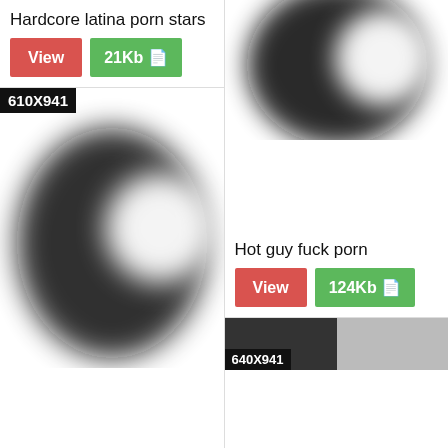Hardcore latina porn stars
[Figure (other): Blurred/redacted thumbnail image with label 21Kb]
[Figure (other): Blurred/redacted thumbnail image with label 610X941]
[Figure (other): Blurred/redacted thumbnail image on right column]
Hot guy fuck porn
[Figure (other): Blurred/redacted thumbnail image with label 124Kb]
[Figure (other): Partial thumbnail at bottom right with label 640X941]